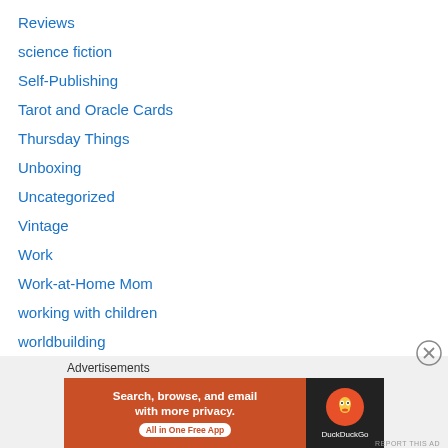Reviews
science fiction
Self-Publishing
Tarot and Oracle Cards
Thursday Things
Unboxing
Uncategorized
Vintage
Work
Work-at-Home Mom
working with children
worldbuilding
writers resources
Writing Excerpts
Writing Exercises
[Figure (screenshot): DuckDuckGo advertisement banner: 'Search, browse, and email with more privacy. All in One Free App' with DuckDuckGo logo on dark background]